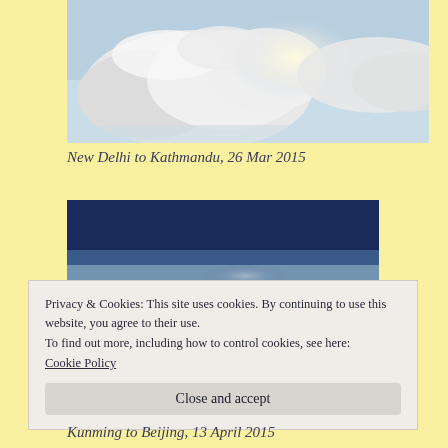[Figure (photo): Aerial photo of large white cumulus clouds against a pale blue sky, taken from an airplane window looking outward.]
New Delhi to Kathmandu, 26 Mar 2015
[Figure (photo): Aerial photo showing a deep blue upper atmosphere transitioning to a lighter haze layer with distant clouds below, taken from high altitude.]
Privacy & Cookies: This site uses cookies. By continuing to use this website, you agree to their use.
To find out more, including how to control cookies, see here:
Cookie Policy
Kunming to Beijing, 13 April 2015